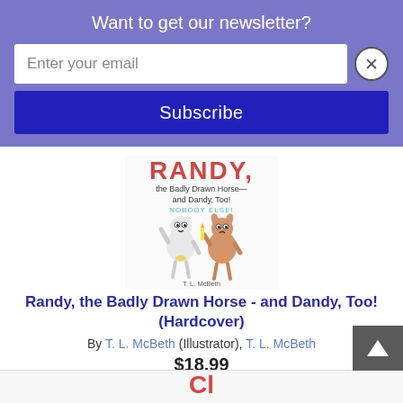Want to get our newsletter?
Enter your email
Subscribe
[Figure (illustration): Book cover of 'Randy, the Badly Drawn Horse - and Dandy, Too!' showing two cartoon horse characters, one white and one brown, with the title in red lettering and author T. L. McBeth]
Randy, the Badly Drawn Horse - and Dandy, Too! (Hardcover)
By T. L. McBeth (Illustrator), T. L. McBeth
$18.99
ADD TO CART
ADD TO WISH LIST
On our shelves recently